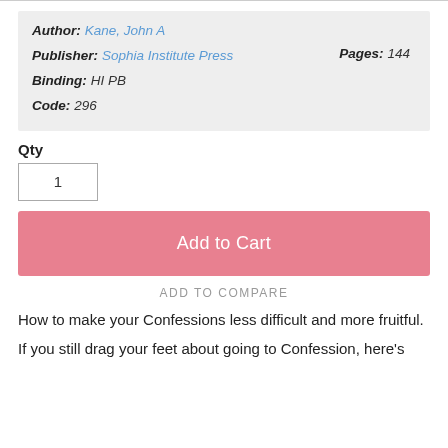| Author: | Kane, John A |  |  |
| Publisher: | Sophia Institute Press | Pages: | 144 |
| Binding: | HI PB |  |  |
| Code: | 296 |  |  |
Qty
1
Add to Cart
ADD TO COMPARE
How to make your Confessions less difficult and more fruitful.
If you still drag your feet about going to Confession, here's